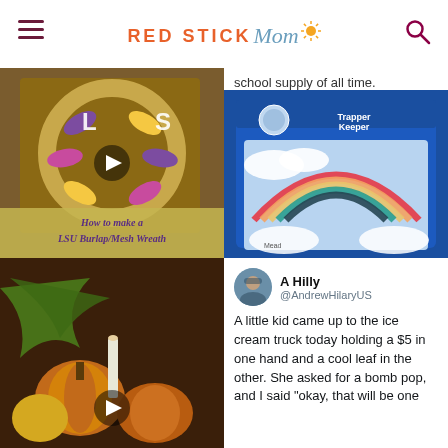RED STICK Mom
[Figure (photo): LSU burlap/mesh wreath with purple and gold ribbons, with text overlay 'How to make a LSU Burlap/Mesh Wreath' and a play button]
[Figure (photo): Trapper Keeper binder with rainbow design on blue cover]
[Figure (photo): Fall/autumn decoration with pumpkins and greenery, with a play button]
school supply of all time.
A Hilly @AndrewHilaryUS
A little kid came up to the ice cream truck today holding a $5 in one hand and a cool leaf in the other. She asked for a bomb pop, and I said "okay, that will be one